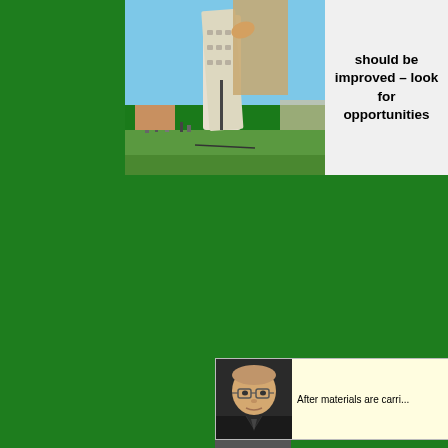[Figure (photo): Leaning Tower of Pisa with a person appearing to push it, tourists and green lawn visible, blue sky background]
should be improved – look for opportunities
[Figure (photo): Portrait photo of an elderly Asian man wearing glasses and a dark suit]
After materials are carri...
[Figure (photo): Partial portrait photo visible at bottom edge]